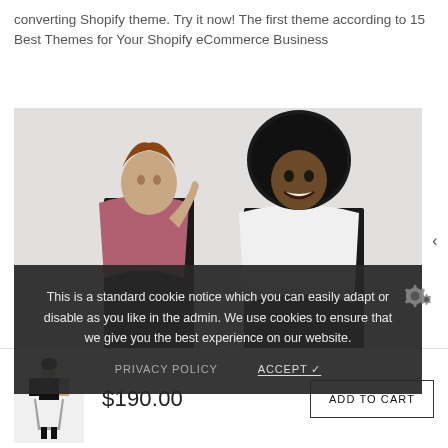converting Shopify theme. Try it now! The first theme according to 15 Best Themes for Your Shopify eCommerce Business
[Figure (photo): Two fashion models: one woman with pink jacket posing on the left, another smiling woman with afro hair wearing a white jacket on the right, against a light grey background]
This is a standard cookie notice which you can easily adapt or disable as you like in the admin. We use cookies to ensure that we give you the best experience on our website.
PRIVACY POLICY    ACCEPT ✓
[Figure (photo): Small product thumbnail of a woman in a grey dress with black tights and boots]
$190.00
ADD TO CART